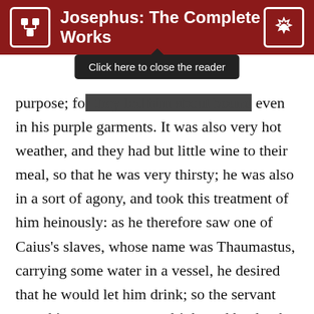Josephus: The Complete Works
purpose; for they led him about bound even in his purple garments. It was also very hot weather, and they had but little wine to their meal, so that he was very thirsty; he was also in a sort of agony, and took this treatment of him heinously: as he therefore saw one of Caius's slaves, whose name was Thaumastus, carrying some water in a vessel, he desired that he would let him drink; so the servant gave him some water to drink, and he drank heartily, and said, "O thou boy! this service of thine to me will be for thy advantage; for if I once get clear of these my bonds, I will soon procure thee